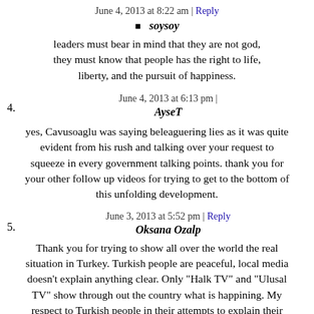June 4, 2013 at 8:22 am | Reply
soysoy
leaders must bear in mind that they are not god, they must know that people has the right to life, liberty, and the pursuit of happiness.
June 4, 2013 at 6:13 pm |
4. AyseT
yes, Cavusoaglu was saying beleaguering lies as it was quite evident from his rush and talking over your request to squeeze in every government talking points. thank you for your other follow up videos for trying to get to the bottom of this unfolding development.
June 3, 2013 at 5:52 pm | Reply
5. Oksana Ozalp
Thank you for trying to show all over the world the real situation in Turkey. Turkish people are peaceful, local media doesn't explain anything clear. Only "Halk TV" and "Ulusal TV" show through out the country what is happining. My respect to Turkish people in their attempts to explain their opinion. In every part of Turkey people are together without any force told them what to do.